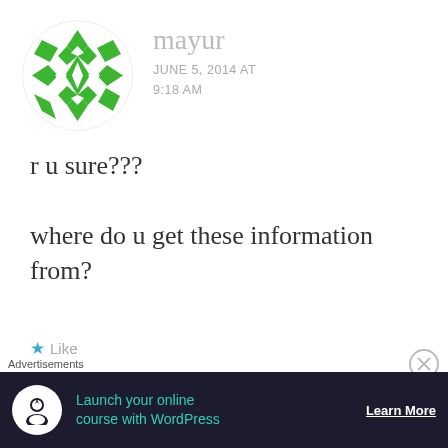[Figure (illustration): Green geometric/kaleidoscope avatar for user 'mayur']
mayur
JUNE 5, 2014 AT 9:18 AM
r u sure???
where do u get these information from?
★ Like
[Figure (illustration): Purple/blue geometric avatar for user 'Anshul']
Anshul
Advertisements
Launch your online course with WordPress
Learn More